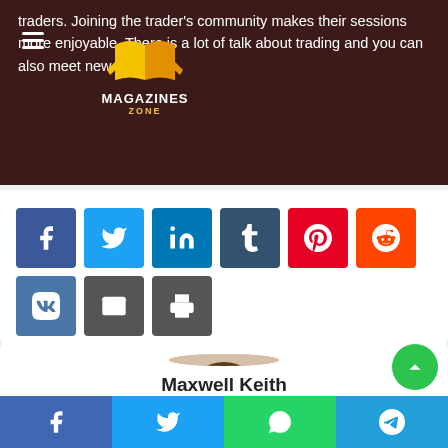traders. Joining the trader's community makes their sessions more enjoyable. There is a lot of talk about trading and you can also meet new people.
[Figure (logo): Magazines Zone logo with orange book icon and text MAGAZINES ZONE]
[Figure (infographic): Social share buttons: Facebook, Twitter, LinkedIn, Tumblr, Pinterest, Reddit, VK, Email, Print]
[Figure (photo): Portrait photo of Maxwell Keith, a man with curly hair smiling]
Maxwell Keith
[Figure (infographic): Bottom share bar with Facebook, Twitter, WhatsApp, Telegram buttons]